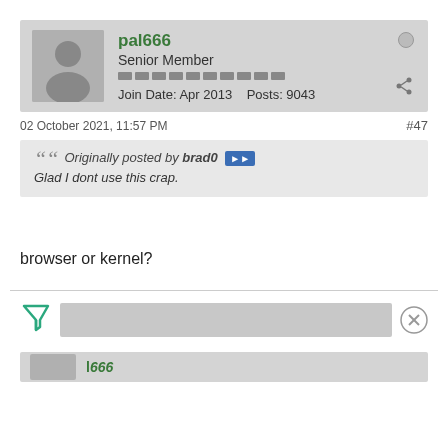pal666 Senior Member Join Date: Apr 2013 Posts: 9043
02 October 2021, 11:57 PM #47
Originally posted by brad0 Glad I dont use this crap.
browser or kernel?
[Figure (other): Advertisement bar with filter icon and close button]